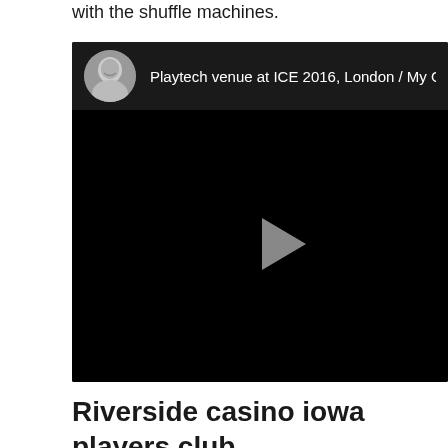with the shuffle machines.
[Figure (screenshot): Embedded video player showing a dark/black video frame with a play button in the center-right area. The video header shows a circular avatar photo of a woman and the text 'Playtech venue at ICE 2016, London / My Ga' (truncated).]
Riverside casino iowa players club